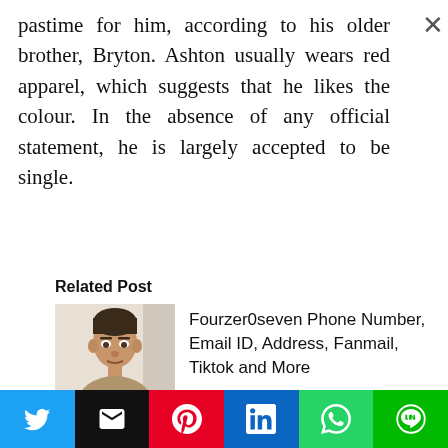pastime for him, according to his older brother, Bryton. Ashton usually wears red apparel, which suggests that he likes the colour. In the absence of any official statement, he is largely accepted to be single.
Related Post
[Figure (photo): Photo of a young man with short dark hair, looking straight ahead, in front of a light background.]
Fourzer0seven Phone Number, Email ID, Address, Fanmail, Tiktok and More